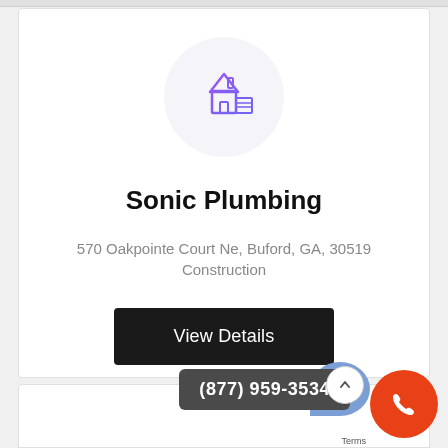[Figure (logo): House/building icon with purple-to-blue gradient inside a light gray circle]
Sonic Plumbing
570 Oakpointe Court Ne, Buford, GA, 30519
Construction
View Details
(877) 959-3534